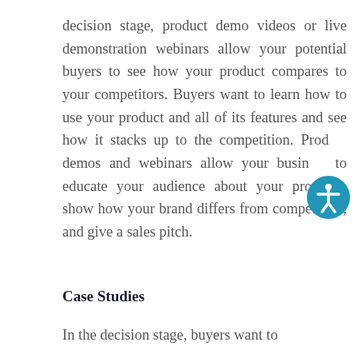decision stage, product demo videos or live demonstration webinars allow your potential buyers to see how your product compares to your competitors. Buyers want to learn how to use your product and all of its features and see how it stacks up to the competition. Product demos and webinars allow your business to educate your audience about your products, show how your brand differs from competition, and give a sales pitch.
Case Studies
In the decision stage, buyers want to